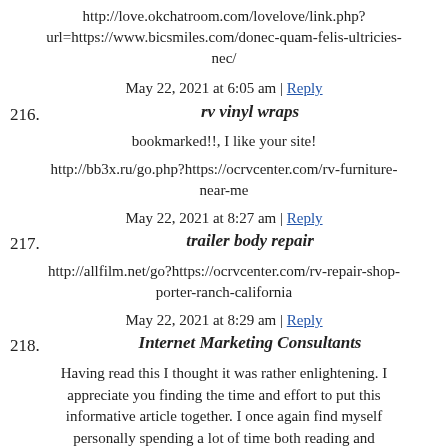http://love.okchatroom.com/lovelove/link.php?url=https://www.bicsmiles.com/donec-quam-felis-ultricies-nec/
May 22, 2021 at 6:05 am | Reply
216. rv vinyl wraps
bookmarked!!, I like your site!
http://bb3x.ru/go.php?https://ocrvcenter.com/rv-furniture-near-me
May 22, 2021 at 8:27 am | Reply
217. trailer body repair
http://allfilm.net/go?https://ocrvcenter.com/rv-repair-shop-porter-ranch-california
May 22, 2021 at 8:29 am | Reply
218. Internet Marketing Consultants
Having read this I thought it was rather enlightening. I appreciate you finding the time and effort to put this informative article together. I once again find myself personally spending a lot of time both reading and